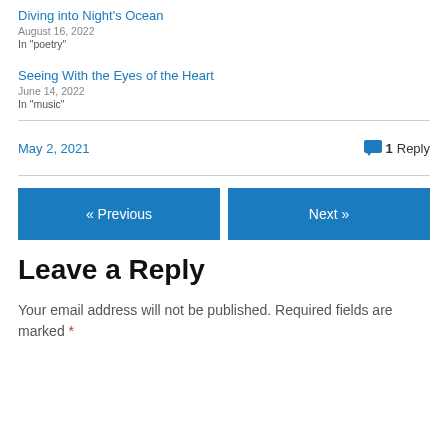Diving into Night's Ocean
August 16, 2022
In "poetry"
Seeing With the Eyes of the Heart
June 14, 2022
In "music"
May 2, 2021
1 Reply
« Previous
Next »
Leave a Reply
Your email address will not be published. Required fields are marked *